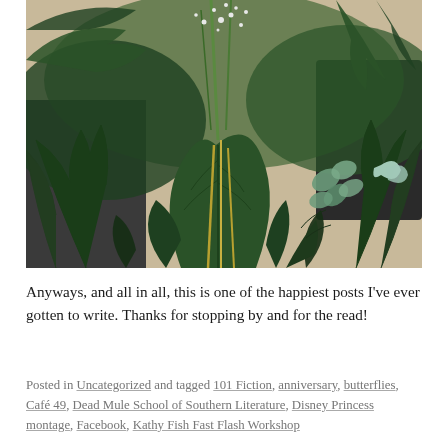[Figure (photo): A photo of a lush green floral arrangement with tropical leaves, ferns, small white flowers (baby's breath), and a light blue ribbon or decoration, against a neutral background.]
Anyways, and all in all, this is one of the happiest posts I've ever gotten to write. Thanks for stopping by and for the read!
Posted in Uncategorized and tagged 101 Fiction, anniversary, butterflies, Café 49, Dead Mule School of Southern Literature, Disney Princess montage, Facebook, Kathy Fish Fast Flash Workshop